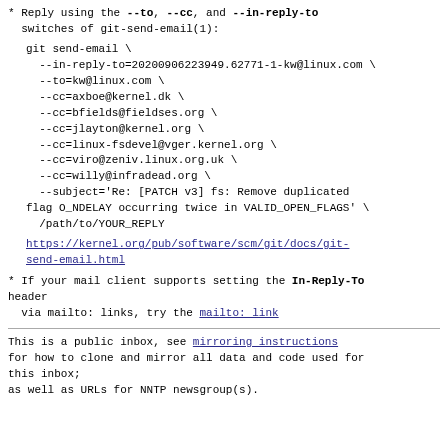* Reply using the --to, --cc, and --in-reply-to switches of git-send-email(1):
git send-email \
  --in-reply-to=20200906223949.62771-1-kw@linux.com \
  --to=kw@linux.com \
  --cc=axboe@kernel.dk \
  --cc=bfields@fieldses.org \
  --cc=jlayton@kernel.org \
  --cc=linux-fsdevel@vger.kernel.org \
  --cc=viro@zeniv.linux.org.uk \
  --cc=willy@infradead.org \
  --subject='Re: [PATCH v3] fs: Remove duplicated flag O_NDELAY occurring twice in VALID_OPEN_FLAGS' \
  /path/to/YOUR_REPLY
https://kernel.org/pub/software/scm/git/docs/git-send-email.html
* If your mail client supports setting the In-Reply-To header
  via mailto: links, try the mailto: link
This is a public inbox, see mirroring instructions for how to clone and mirror all data and code used for this inbox;
as well as URLs for NNTP newsgroup(s).